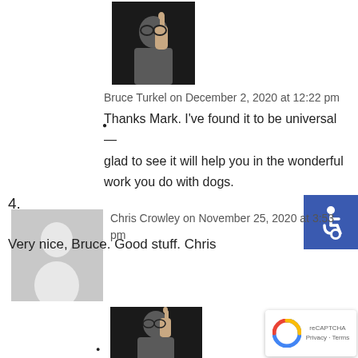[Figure (photo): Photo of Bruce Turkel, a man with glasses raising one finger, against a dark background]
Bruce Turkel on December 2, 2020 at 12:22 pm
Thanks Mark. I've found it to be universal — glad to see it will help you in the wonderful work you do with dogs.
4.
[Figure (photo): Grey placeholder avatar silhouette]
Chris Crowley on November 25, 2020 at 3:53 pm
Very nice, Bruce. Good stuff. Chris
[Figure (photo): Photo of Bruce Turkel, a man with glasses raising one finger, against a dark background]
[Figure (logo): Accessibility icon — white wheelchair symbol on blue background]
[Figure (logo): reCAPTCHA badge with Privacy and Terms links]